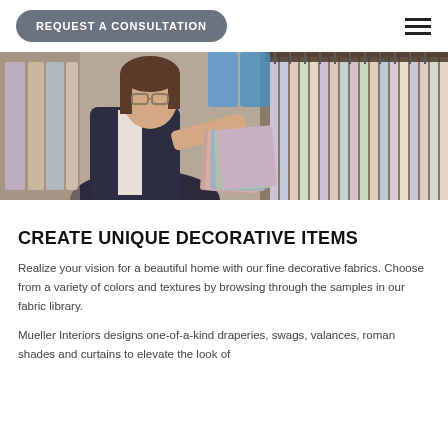REQUEST A CONSULTATION
[Figure (photo): A woman with glasses and dark hair, wearing a dark blazer, browsing fabric swatches in a fabric store. Colorful fabric samples and hangers visible in the background.]
CREATE UNIQUE DECORATIVE ITEMS
Realize your vision for a beautiful home with our fine decorative fabrics. Choose from a variety of colors and textures by browsing through the samples in our fabric library.
Mueller Interiors designs one-of-a-kind draperies, swags, valances, roman shades and curtains to elevate the look of your home. We also use fabric from our inventory...